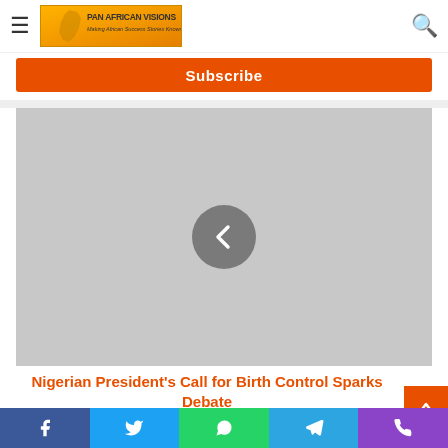Pan African Visions — navigation bar with logo, hamburger menu, and search icon
[Figure (screenshot): Subscribe button — orange rectangle with white 'Subscribe' text]
[Figure (photo): Gray placeholder image area with a circular back/previous navigation chevron button in the center]
Nigerian President's Call for Birth Control Sparks Debate
Social share buttons: Facebook, Twitter, WhatsApp, Telegram, Phone